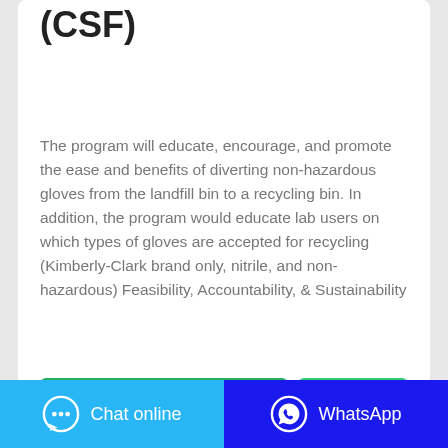(CSF)
The program will educate, encourage, and promote the ease and benefits of diverting non-hazardous gloves from the landfill bin to a recycling bin. In addition, the program would educate lab users on which types of gloves are accepted for recycling (Kimberly-Clark brand only, nitrile, and non-hazardous) Feasibility, Accountability, & Sustainability
[Figure (infographic): Two buttons: 'CONTACT THE MANUFACTURER' (green) and 'WHATSAPP' (light green)]
Chat online | WhatsApp